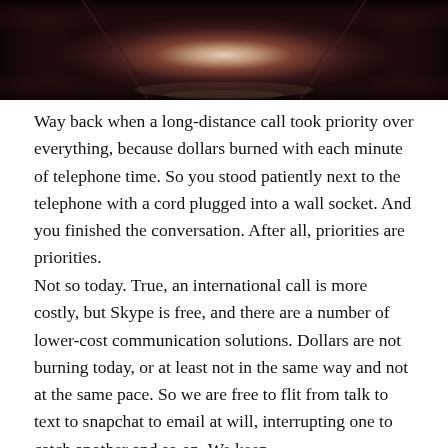[Figure (photo): Dark atmospheric photo of a hallway or corridor with a bright light source at the far end, dark wooden floors, and ornate doorframes on either side. The image is high contrast black and dark reddish-brown tones.]
Way back when a long-distance call took priority over everything, because dollars burned with each minute of telephone time. So you stood patiently next to the telephone with a cord plugged into a wall socket. And you finished the conversation. After all, priorities are priorities.
Not so today. True, an international call is more costly, but Skype is free, and there are a number of lower-cost communication solutions. Dollars are not burning today, or at least not in the same way and not at the same pace. So we are free to flit from talk to text to snapchat to email at will, interrupting one to catch another and so on. We keep